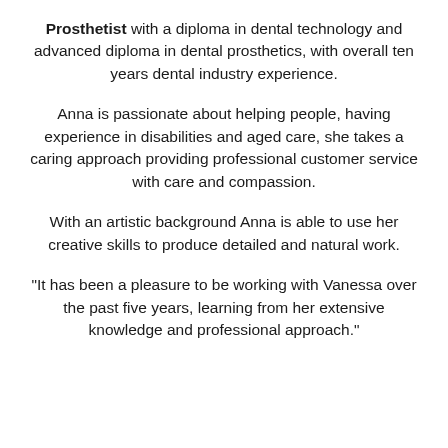Prosthetist with a diploma in dental technology and advanced diploma in dental prosthetics, with overall ten years dental industry experience.
Anna is passionate about helping people, having experience in disabilities and aged care, she takes a caring approach providing professional customer service with care and compassion.
With an artistic background Anna is able to use her creative skills to produce detailed and natural work.
"It has been a pleasure to be working with Vanessa over the past five years, learning from her extensive knowledge and professional approach."